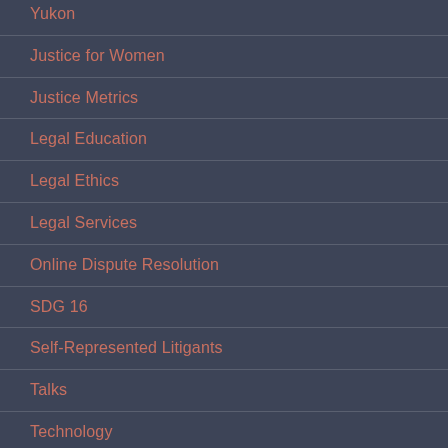Yukon
Justice for Women
Justice Metrics
Legal Education
Legal Ethics
Legal Services
Online Dispute Resolution
SDG 16
Self-Represented Litigants
Talks
Technology